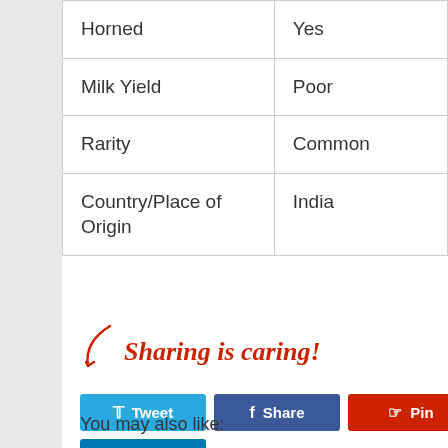| Horned | Yes |
| Milk Yield | Poor |
| Rarity | Common |
| Country/Place of Origin | India |
[Figure (infographic): Sharing is caring social share buttons: Tweet (Twitter), Share (Facebook), Pin (Pinterest), Share (LinkedIn), with a red arrow pointing to the buttons]
You may also like: